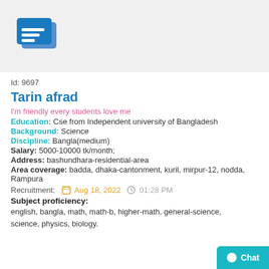[Figure (illustration): Profile icon showing a document/ID card illustration in blue on a light grey background]
Id: 9697
Tarin afrad
I'm friendly every students love me
Education: Cse from Independent university of Bangladesh
Background: Science
Discipline: Bangla(medium)
Salary: 5000-10000 tk/month;
Address: bashundhara-residential-area
Area coverage: badda, dhaka-cantonment, kuril, mirpur-12, nodda, Rampura
Recruitment: Aug 18, 2022 01:28 PM
Subject proficiency:
english, bangla, math, math-b, higher-math, general-science, science, physics, biology.